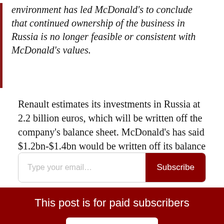environment has led McDonald's to conclude that continued ownership of the business in Russia is no longer feasible or consistent with McDonald's values.
Renault estimates its investments in Russia at 2.2 billion euros, which will be written off the company's balance sheet. McDonald's has said $1.2bn-$1.4bn would be written off its balance sheet.
Type your email...
Subscribe
This post is for paid subscribers
Subscribe